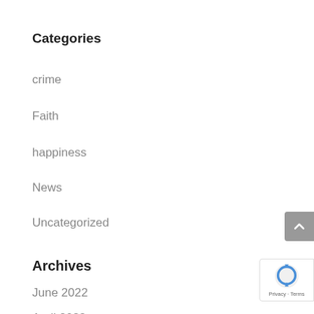Categories
crime
Faith
happiness
News
Uncategorized
Archives
June 2022
April 2022
December 2021